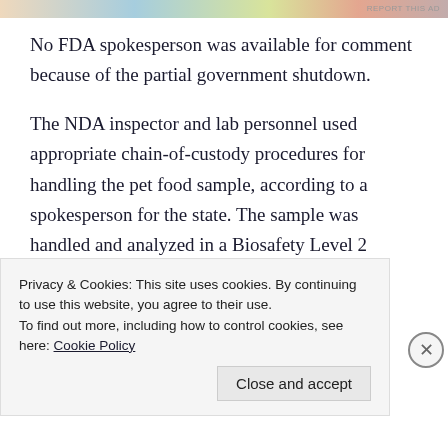No FDA spokesperson was available for comment because of the partial government shutdown.
The NDA inspector and lab personnel used appropriate chain-of-custody procedures for handling the pet food sample, according to a spokesperson for the state. The sample was handled and analyzed in a Biosafety Level 2 (BSL-2) lab, under full compliance with all sanitation and handling procedures.
Privacy & Cookies: This site uses cookies. By continuing to use this website, you agree to their use.
To find out more, including how to control cookies, see here: Cookie Policy